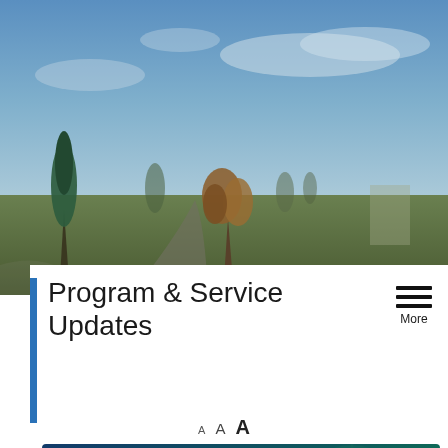[Figure (photo): Outdoor background photo showing trees and sky with a road/path visible]
Program & Service Updates
A A A
[Figure (infographic): COVID-19 Stop the Spread banner with gear/virus icons on a blue-green gradient background]